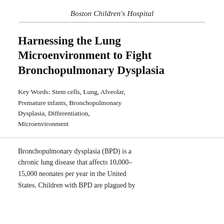Boston Children's Hospital
Harnessing the Lung Microenvironment to Fight Bronchopulmonary Dysplasia
Key Words: Stem cells, Lung, Alveolar, Premature infants, Bronchopulmonary Dysplasia, Differentiation, Microenvironment
Bronchopulmonary dysplasia (BPD) is a chronic lung disease that affects 10,000–15,000 neonates per year in the United States. Children with BPD are plagued by